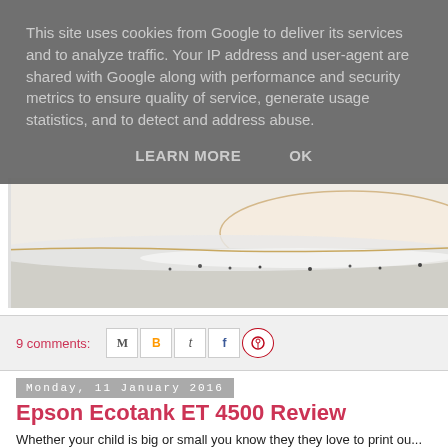This site uses cookies from Google to deliver its services and to analyze traffic. Your IP address and user-agent are shared with Google along with performance and security metrics to ensure quality of service, generate usage statistics, and to detect and address abuse.
LEARN MORE   OK
[Figure (photo): Close-up photo of a beach shoreline showing sand, foam, and water from an aerial or close perspective with white and grey tones]
9 comments:
[Figure (screenshot): Row of five social sharing icons: Email (M), Blogger (B), Twitter (t), Facebook (f), Pinterest (circle with P)]
Monday, 11 January 2016
Epson Ecotank ET 4500 Review
Whether your child is big or small you know they they love to print ou... may change the printer can take a right good bashing on the ink from... during my sons GCSE's years that we had to order print cartridge of...